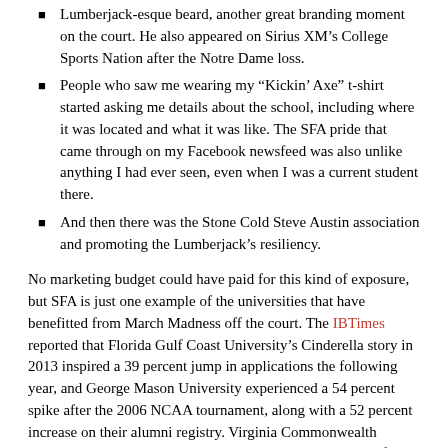Lumberjack-esque beard, another great branding moment on the court. He also appeared on Sirius XM's College Sports Nation after the Notre Dame loss.
People who saw me wearing my “Kickin’ Axe” t-shirt started asking me details about the school, including where it was located and what it was like. The SFA pride that came through on my Facebook newsfeed was also unlike anything I had ever seen, even when I was a current student there.
And then there was the Stone Cold Steve Austin association and promoting the Lumberjack’s resiliency.
No marketing budget could have paid for this kind of exposure, but SFA is just one example of the universities that have benefitted from March Madness off the court. The IBTimes reported that Florida Gulf Coast University’s Cinderella story in 2013 inspired a 39 percent jump in applications the following year, and George Mason University experienced a 54 percent spike after the 2006 NCAA tournament, along with a 52 percent increase on their alumni registry. Virginia Commonwealth University produced its highest royalty total in its history after the team made it to the Final Four.